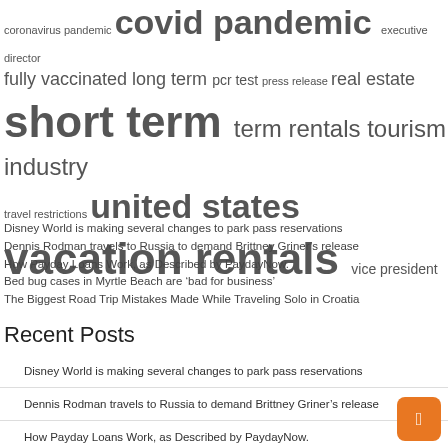[Figure (other): Word/tag cloud with terms of varying sizes: 'coronavirus pandemic', 'covid pandemic', 'executive director', 'fully vaccinated', 'long term', 'pcr test', 'press release', 'real estate', 'short term', 'term rentals', 'tourism industry', 'travel restrictions', 'united states', 'vacation rentals', 'vice president']
Disney World is making several changes to park pass reservations
Dennis Rodman travels to Russia to demand Brittney Griner’s release
How Payday Loans Work, as Described by PaydayNow.
Bed bug cases in Myrtle Beach are ‘bad for business’
The Biggest Road Trip Mistakes Made While Traveling Solo in Croatia
Recent Posts
Disney World is making several changes to park pass reservations
Dennis Rodman travels to Russia to demand Brittney Griner’s release
How Payday Loans Work, as Described by PaydayNow.
Bed bug cases in Myrtle Beach are ‘bad for business’